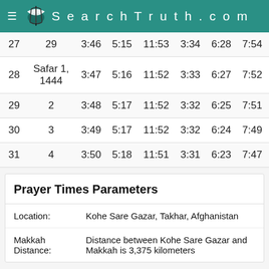SearchTruth.com
| Day | Hijri | Fajr | Sunrise | Dhuhr | Asr | Maghrib | Isha |
| --- | --- | --- | --- | --- | --- | --- | --- |
| 27 | 29 | 3:46 | 5:15 | 11:53 | 3:34 | 6:28 | 7:54 |
| 28 | Safar 1, 1444 | 3:47 | 5:16 | 11:52 | 3:33 | 6:27 | 7:52 |
| 29 | 2 | 3:48 | 5:17 | 11:52 | 3:32 | 6:25 | 7:51 |
| 30 | 3 | 3:49 | 5:17 | 11:52 | 3:32 | 6:24 | 7:49 |
| 31 | 4 | 3:50 | 5:18 | 11:51 | 3:31 | 6:23 | 7:47 |
Prayer Times Parameters
Location: Kohe Sare Gazar, Takhar, Afghanistan
Makkah Distance: Distance between Kohe Sare Gazar and Makkah is 3,375 kilometers